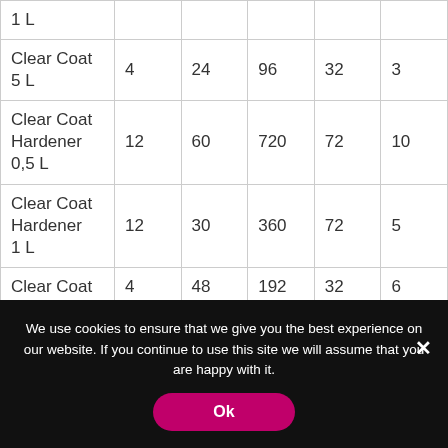| 1 L |  |  |  |  |  |
| Clear Coat 5 L | 4 | 24 | 96 | 32 | 3 |
| Clear Coat Hardener 0,5 L | 12 | 60 | 720 | 72 | 10 |
| Clear Coat Hardener 1 L | 12 | 30 | 360 | 72 | 5 |
| Clear Coat | 4 | 48 | 192 | 32 | 6 |
We use cookies to ensure that we give you the best experience on our website. If you continue to use this site we will assume that you are happy with it.